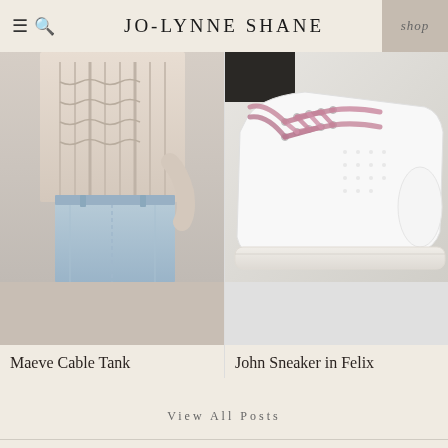JO-LYNNE SHANE
[Figure (photo): Photo of a woman wearing a beige cable knit tank top with light blue jeans, cropped to show torso]
[Figure (photo): Close-up photo of a white leather sneaker with pink glitter laces, John Sneaker in Felix]
Maeve Cable Tank
John Sneaker in Felix
View All Posts